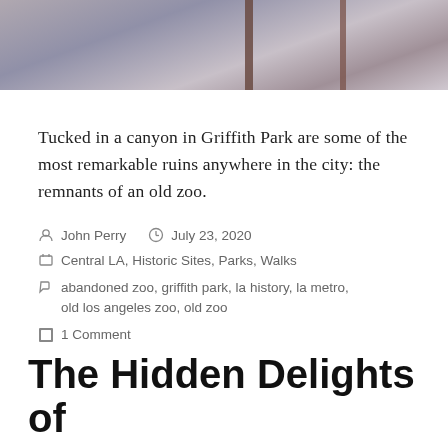[Figure (photo): A photo strip at the top showing rocky/stone ruins with brown metal bars or posts, gray/purple tones, partial view cropped at top.]
Tucked in a canyon in Griffith Park are some of the most remarkable ruins anywhere in the city: the remnants of an old zoo.
John Perry  July 23, 2020
Central LA, Historic Sites, Parks, Walks
abandoned zoo, griffith park, la history, la metro, old los angeles zoo, old zoo
1 Comment
The Hidden Delights of